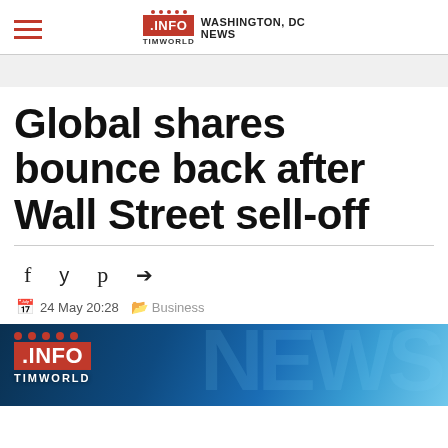TIMWORLD .INFO WASHINGTON, DC NEWS
Global shares bounce back after Wall Street sell-off
f  y  p  ➤
24 May 20:28  Business
[Figure (logo): TimWorld .INFO news logo with blue background and NEWS watermark]